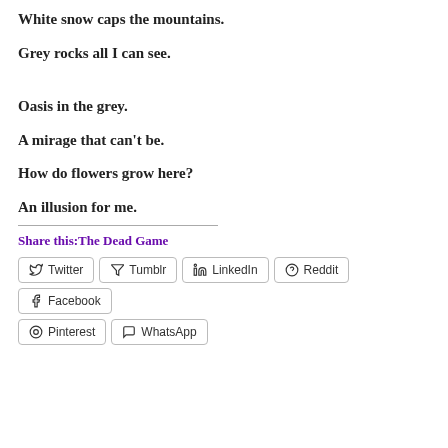White snow caps the mountains.
Grey rocks all I can see.
Oasis in the grey.
A mirage that can't be.
How do flowers grow here?
An illusion for me.
Share this:The Dead Game
Twitter  Tumblr  LinkedIn  Reddit  Facebook  Pinterest  WhatsApp